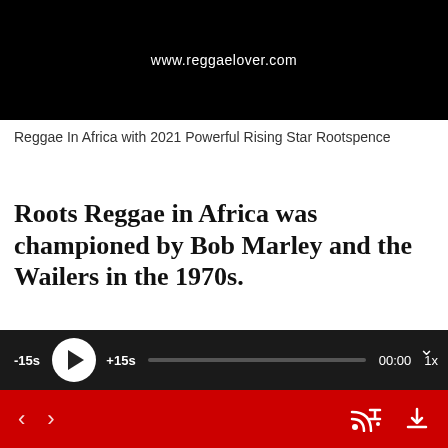[Figure (screenshot): Black background podcast cover image showing 'ROOTSPENCE' text and website URL www.reggaelover.com]
Reggae In Africa with 2021 Powerful Rising Star Rootspence
Roots Reggae in Africa was championed by Bob Marley and the Wailers in the 1970s.
Rootspence was greatly influenced as a youth by the music his Reggae-loving parents played around the house. He
[Figure (screenshot): Audio player bar (dark/black) with -15s skip, play button, +15s skip, progress bar, 00:00 timestamp, 1x speed, and chevron down icon]
[Figure (screenshot): Red bottom navigation bar with back/forward arrows, RSS-style icon, and download icon]